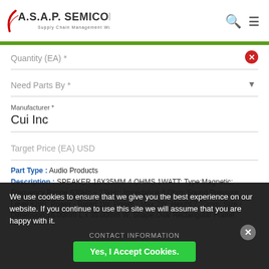A.S.A.P. SEMICONDUCTOR Supply Chain Management Worldwide
Quantity (EA) *
Need Parts By *
Manufacturer *
Cui Inc
Target Price (EA) USD
Part Type : Audio Products
Description : SPEAKER 16X35MM 4 OHMS 1WATT; Type:Magnetic; Frequency Range:630Hz ~ 13kHz; Impedance:4 Ohm; Sound Pressure Level:82dB; Power - Rated:1W; Power - Max:2W; Height:7.70mm; Size / Dimension:16.00mm L x 35.00mm W; Shape:Oval Rectangular Frame;
We use cookies to ensure that we give you the best experience on our website. If you continue to use this site we will assume that you are happy with it.
Yes, I Accept Cookies.
CONTACT INFORMATION